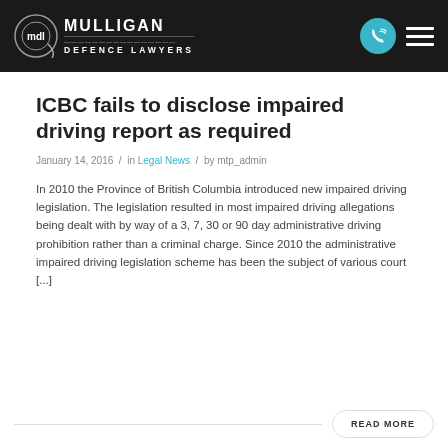Mulligan Defence Lawyers
ICBC fails to disclose impaired driving report as required
January 14, 2016  /  in Legal News  /  by mtp_admin
In 2010 the Province of British Columbia introduced new impaired driving legislation. The legislation resulted in most impaired driving allegations being dealt with by way of a 3, 7, 30 or 90 day administrative driving prohibition rather than a criminal charge. Since 2010 the administrative impaired driving legislation scheme has been the subject of various court [...]